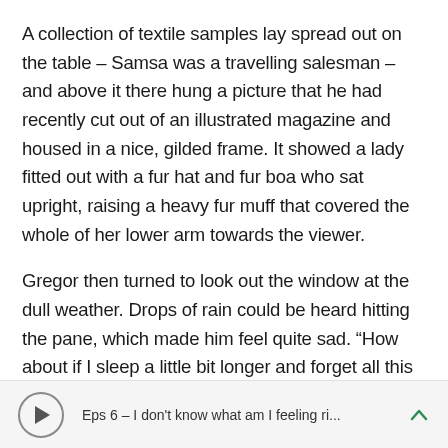A collection of textile samples lay spread out on the table – Samsa was a travelling salesman – and above it there hung a picture that he had recently cut out of an illustrated magazine and housed in a nice, gilded frame. It showed a lady fitted out with a fur hat and fur boa who sat upright, raising a heavy fur muff that covered the whole of her lower arm towards the viewer.
Gregor then turned to look out the window at the dull weather. Drops of rain could be heard hitting the pane, which made him feel quite sad. “How about if I sleep a little bit longer and forget all this nonsense”, he thought, but that was something he
Eps 6 – I don't know what am I feeling ri...